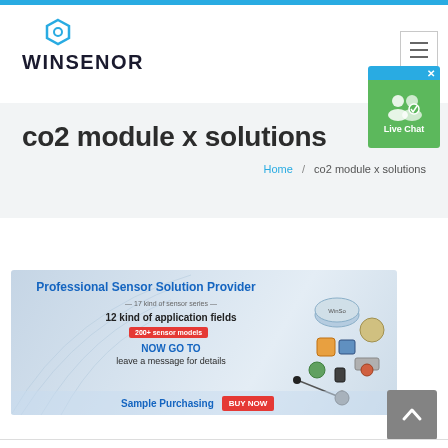WINSENOR
co2 module x solutions
Home / co2 module x solutions
[Figure (infographic): Winsenor Professional Sensor Solution Provider banner showing 17 kind of sensor series, 12 kind of application fields, 200+ sensor models with NOW GO TO leave a message for details text, and Sample Purchasing BUY NOW button. Various sensor products are displayed on the right side.]
[Figure (illustration): Live Chat popup button with user icon and green background]
[Figure (illustration): Scroll to top arrow button (gray)]